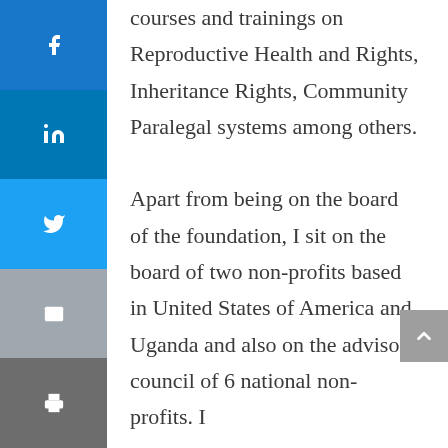[Figure (other): Vertical social sharing sidebar with Facebook (blue), LinkedIn (dark blue), Twitter (light blue), Email (gray), and Print (dark gray) icon buttons]
courses and trainings on Reproductive Health and Rights, Inheritance Rights, Community Paralegal systems among others.

Apart from being on the board of the foundation, I sit on the board of two non-profits based in United States of America and Uganda and also on the advisory council of 6 national non-profits. I